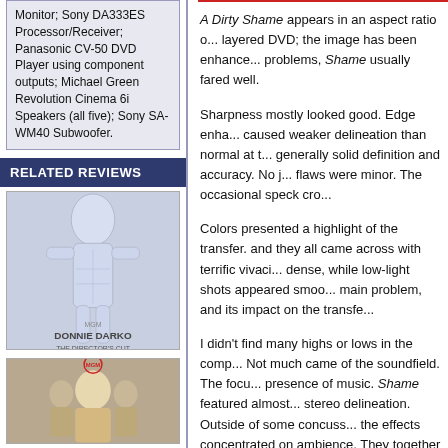Monitor; Sony DA333ES Processor/Receiver; Panasonic CV-50 DVD Player using component outputs; Michael Green Revolution Cinema 6i Speakers (all five); Sony SA-WM40 Subwoofer.
RELATED REVIEWS
[Figure (photo): Donnie Darko The Director's Cut movie poster - faint anatomical human figure in blue-grey tones with text 'DONNIE DARKO THE DIRECTOR'S CUT']
[Figure (photo): Second related review movie cover image - group of people with a blonde woman in foreground]
A Dirty Shame appears in an aspect ratio of... layered DVD; the image has been enhanced... problems, Shame usually fared well.
Sharpness mostly looked good. Edge enhancement caused weaker delineation than normal at times, but generally solid definition and accuracy. No jaggies... flaws were minor. The occasional speck cropped...
Colors presented a highlight of the transfer. ... and they all came across with terrific vivacity. Blacks were dense, while low-light shots appeared smooth... main problem, and its impact on the transfer...
I didn't find many highs or lows in the competitive... Not much came of the soundfield. The focus stayed on presence of music. Shame featured almost no stereo delineation. Outside of some concussive... the effects concentrated on ambience. They came together nicely, but they didn't have a lot to offer else, though they fleshed out the spectrum.
Audio quality seemed satisfying. Speech sounded... and crisp. As noted, effects were fairly modest but kicked in some bass when appropriate. Music sounded rich and well defined with good range... system, but it did what it needed to do.
New Line packs in a lot of extras for this DVD...